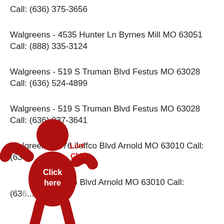Call: (636) 375-3656
Walgreens - 4535 Hunter Ln Byrnes Mill MO 63051
Call: (888) 335-3124
Walgreens - 519 S Truman Blvd Festus MO 63028
Call: (636) 524-4899
Walgreens - 519 S Truman Blvd Festus MO 63028
Call: (636) 937-3641
Walgreens - 776 Jeffco Blvd Arnold MO 63010 Call: (636) ...
... 6 Jeffco Blvd Arnold MO 63010 Call: (63...
[Figure (illustration): Red cartoon figure of a person waving, overlaid on the page content, with text 'Live Chat' in red handwriting and 'Click here' in white text on the figure's body.]